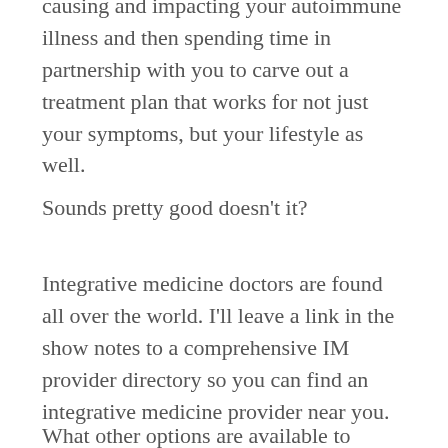causing and impacting your autoimmune illness and then spending time in partnership with you to carve out a treatment plan that works for not just your symptoms, but your lifestyle as well.
Sounds pretty good doesn't it?
Integrative medicine doctors are found all over the world. I'll leave a link in the show notes to a comprehensive IM provider directory so you can find an integrative medicine provider near you.
What other options are available to